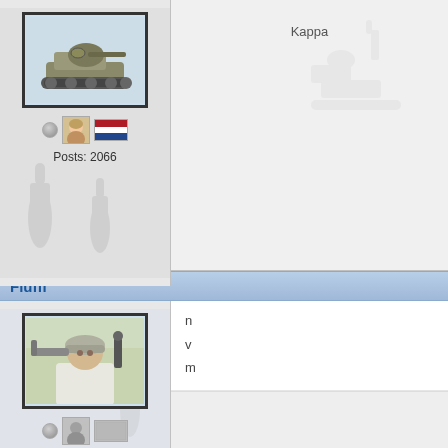[Figure (illustration): Forum post user panel: avatar showing a WWII-style tank illustration, status dot, female avatar icon, Dutch flag icon, Posts: 2066]
Kappa
Fluffi
[Figure (illustration): Forum post user panel: avatar showing a WWII soldier with mortar, status dot, default avatar icon, gray square icon, Posts: 211]
n
v
m